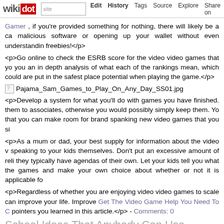wikidot site Edit History Tags Source Explore Share on Twitter
Gamer , if you're provided something for nothing, there will likely be a ca malicious software or opening up your wallet without even understandin freebies!</p>
<p>Go online to check the ESRB score for the video video games that yo you an in depth analysis of what each of the rankings mean, which could are put in the safest place potential when playing the game.</p>
[Figure (illustration): Broken image placeholder for Pajama_Sam_Games_to_Play_On_Any_Day_SS01.jpg]
<p>Develop a system for what you'll do with games you have finished. them to associates, otherwise you would possibly simply keep them. Yo that you can make room for brand spanking new video games that you si
<p>As a mum or dad, your best supply for information about the video v speaking to your kids themselves. Don't put an excessive amount of reli they typically have agendas of their own. Let your kids tell you what the games and make your own choice about whether or not it is applicable fo
<p>Regardless of whether you are enjoying video video games to scale can improve your life. Improve Get The Video Game Help You Need To C pointers you learned in this article.</p> - Comments: 0
School Ideas That Anybody Can Use Straight aw
Tags:
<h1>What You've At all times Wanted To Know about Going To varsity</h